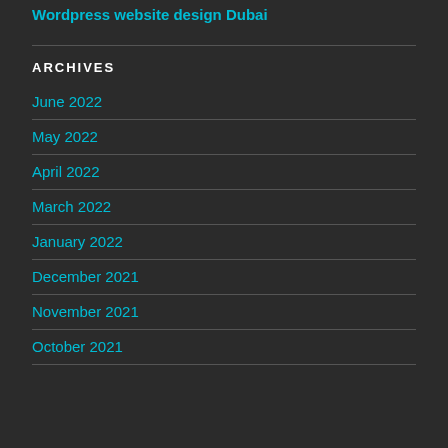Wordpress website design Dubai
ARCHIVES
June 2022
May 2022
April 2022
March 2022
January 2022
December 2021
November 2021
October 2021